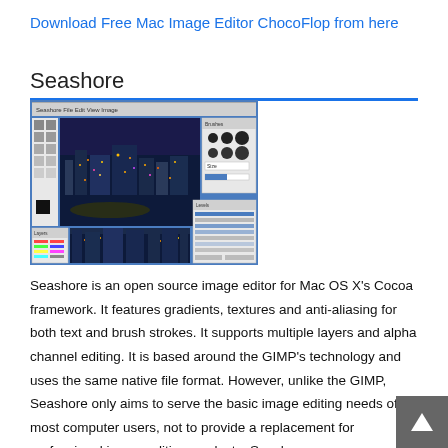Download Free Mac Image Editor ChocoFlop from here
Seashore
[Figure (screenshot): Screenshot of Seashore image editor for Mac OS X showing cityscape photos being edited with various tool palettes and brush options panels open on a blue desktop.]
Seashore is an open source image editor for Mac OS X's Cocoa framework. It features gradients, textures and anti-aliasing for both text and brush strokes. It supports multiple layers and alpha channel editing. It is based around the GIMP's technology and uses the same native file format. However, unlike the GIMP, Seashore only aims to serve the basic image editing needs of most computer users, not to provide a replacement for professional image editing products. Seashore was